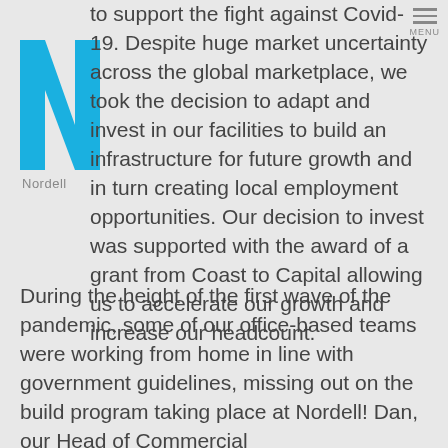[Figure (logo): Nordell company logo — blue stylized N with 'Nordell' text in grey]
to support the fight against Covid-19. Despite huge market uncertainty across the global marketplace, we took the decision to adapt and invest in our facilities to build an infrastructure for future growth and in turn creating local employment opportunities. Our decision to invest was supported with the award of a grant from Coast to Capital allowing us to accelerate our growth and increase our headcount.
During the height of the first wave of the pandemic, some of our office-based teams were working from home in line with government guidelines, missing out on the build program taking place at Nordell! Dan, our Head of Commercial